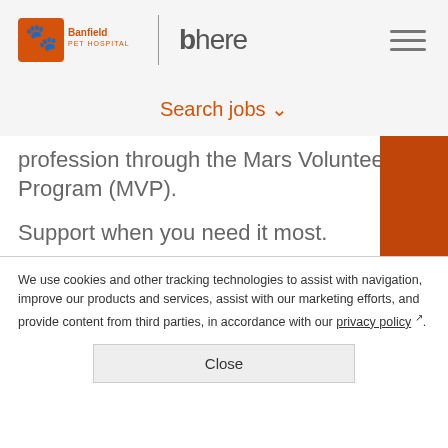Banfield Pet Hospital | bhere — navigation header with hamburger menu
Search jobs ↓
profession through the Mars Volunteer Program (MVP).
Support when you need it most.
As the world's largest veterinary practice, one of our biggest differentiators is our
We use cookies and other tracking technologies to assist with navigation, improve our products and services, assist with our marketing efforts, and provide content from third parties, in accordance with our privacy policy.
Close